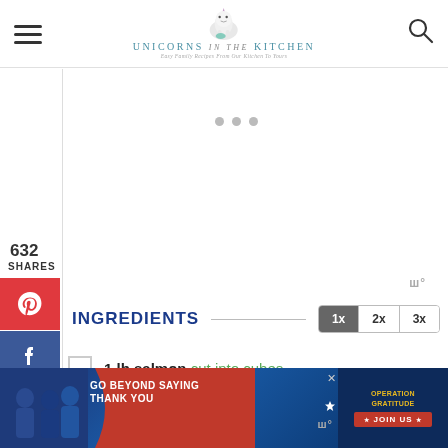UNICORNS in the KITCHEN — Easy Family Recipes From Our Kitchen To Yours
632 SHARES
[Figure (other): Pinterest share button (red background with P icon)]
[Figure (other): Facebook share button (blue background with f icon)]
[Figure (other): Yummly share button (orange background with Yum label)]
INGREDIENTS
1 lb salmon cut into cubes
[Figure (infographic): Go Beyond Saying Thank You — Operation Gratitude JOIN US advertisement banner]